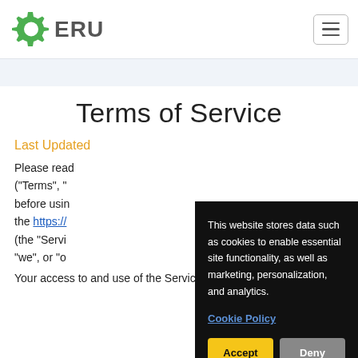[Figure (logo): GERU logo: green gear icon with 'GERU' text in gray]
Terms of Service
Last Updated
Please read these Terms of Service ("Terms", "...") before using the https://... (the "Service") ... "we", or "o...
Your access to and use of the Service is
This website stores data such as cookies to enable essential site functionality, as well as marketing, personalization, and analytics.
Cookie Policy
Accept
Deny